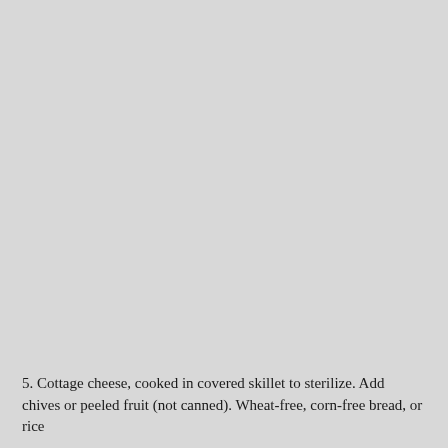5. Cottage cheese, cooked in covered skillet to sterilize. Add chives or peeled fruit (not canned). Wheat-free, corn-free bread, or rice bread with 1 tablespoon 1 teaspoon jam or jelly, free from 1 mold